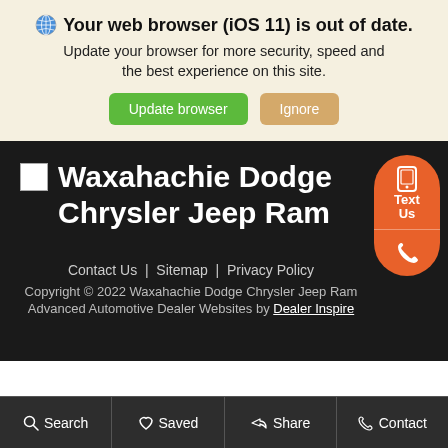🌐 Your web browser (iOS 11) is out of date. Update your browser for more security, speed and the best experience on this site.
Update browser | Ignore
[Figure (logo): Dealer logo placeholder]
Waxahachie Dodge Chrysler Jeep Ram
Contact Us | Sitemap | Privacy Policy
Copyright © 2022 Waxahachie Dodge Chrysler Jeep Ram
Advanced Automotive Dealer Websites by Dealer Inspire
Search | Saved | Share | Contact